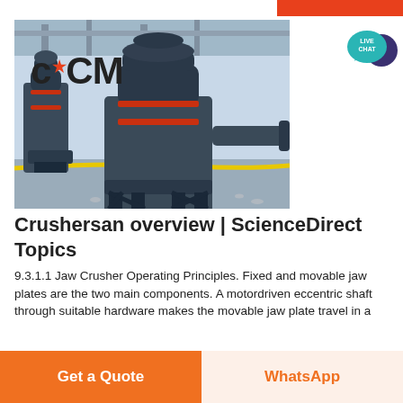[Figure (photo): Industrial crushing machines (cone crushers) in a factory/warehouse setting with CCM logo overlay on the image]
[Figure (other): Live Chat speech bubble icon in teal/dark blue colors in top right corner]
Crushersan overview | ScienceDirect Topics
9.3.1.1 Jaw Crusher Operating Principles. Fixed and movable jaw plates are the two main components. A motordriven eccentric shaft through suitable hardware makes the movable jaw plate travel in a
Get a Quote   WhatsApp